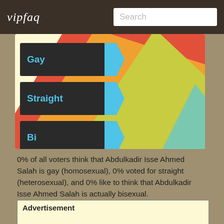vipfaq  Search
[Figure (infographic): Three voting buttons labeled Gay, Straight, and Bi with diagonal rainbow stripes in the background (red, orange, yellow, green, teal)]
0% of all voters think that Abdulkadir Isse Ahmed Salah is gay (homosexual), 0% voted for straight (heterosexual), and 0% like to think that Abdulkadir Isse Ahmed Salah is actually bisexual.
Advertisement